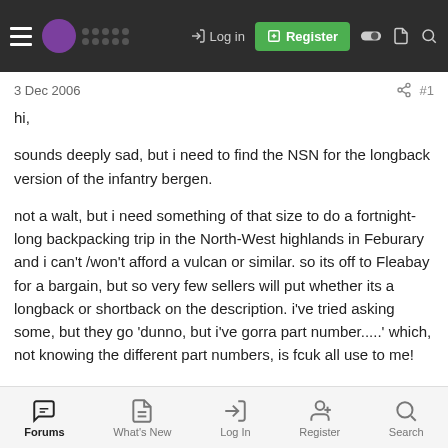Log in | Register | [nav icons]
3 Dec 2006
#1
hi,

sounds deeply sad, but i need to find the NSN for the longback version of the infantry bergen.

not a walt, but i need something of that size to do a fortnight-long backpacking trip in the North-West highlands in Feburary and i can't /won't afford a vulcan or similar. so its off to Fleabay for a bargain, but so very few sellers will put whether its a longback or shortback on the description. i've tried asking some, but they go 'dunno, but i've gorra part number.....' which, not knowing the different part numbers, is fcuk all use to me!
Forums | What's New | Log In | Register | Search